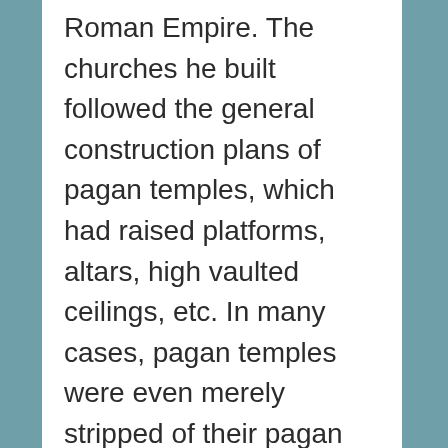Roman Empire. The churches he built followed the general construction plans of pagan temples, which had raised platforms, altars, high vaulted ceilings, etc. In many cases, pagan temples were even merely stripped of their pagan gods and then converted for Christian worship. In addition to the construction of churches, Constantine also established the clergy class, separating the